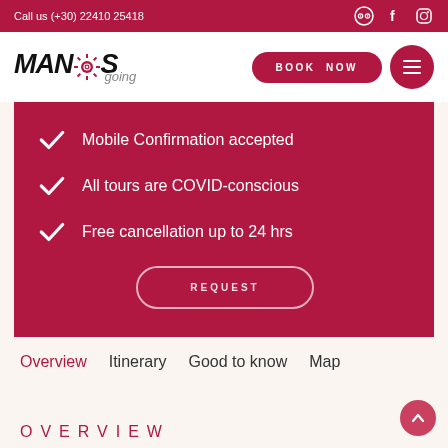Call us (+30) 22410 25418
[Figure (logo): MANOS going travel agency logo with sun icon]
Mobile Confirmation accepted
All tours are COVID-conscious
Free cancellation up to 24 hrs
REQUEST
Overview  Itinerary  Good to know  Map
OVERVIEW